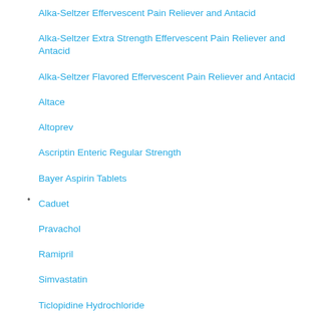Alka-Seltzer Effervescent Pain Reliever and Antacid
Alka-Seltzer Extra Strength Effervescent Pain Reliever and Antacid
Alka-Seltzer Flavored Effervescent Pain Reliever and Antacid
Altace
Altoprev
Ascriptin Enteric Regular Strength
Bayer Aspirin Tablets
Caduet
Pravachol
Ramipril
Simvastatin
Ticlopidine Hydrochloride
Vytorin
Warfarin Sodium
Zocor
Mevacor